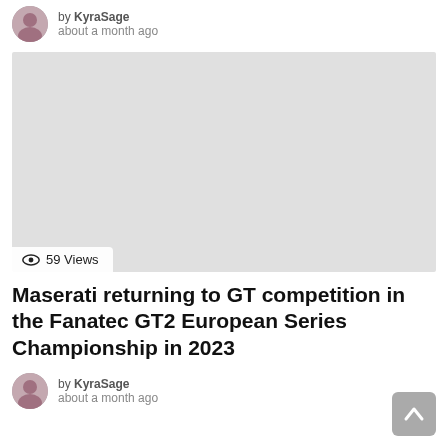by KyraSage
about a month ago
[Figure (photo): Large light gray placeholder image block with a views counter overlay at the bottom left showing an eye icon and '59 Views']
Maserati returning to GT competition in the Fanatec GT2 European Series Championship in 2023
by KyraSage
about a month ago